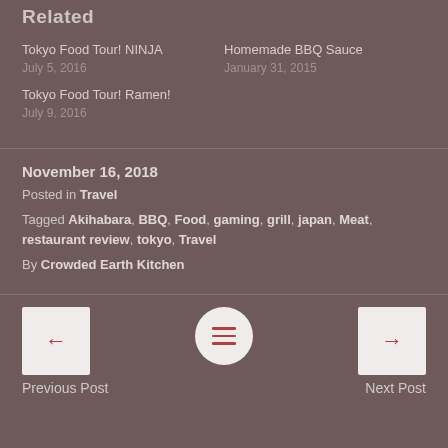Related
Tokyo Food Tour! NINJA
July 5, 2016
Homemade BBQ Sauce
January 31, 2015
Tokyo Food Tour! Ramen!
July 9, 2016
November 16, 2018
Posted in Travel
Tagged Akihabara, BBQ, Food, gaming, grill, japan, Meat, restaurant review, tokyo, Travel
By Crowded Earth Kitchen
Previous Post
Next Post